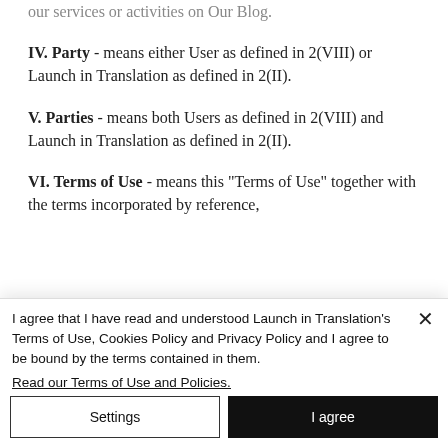our services or activities on Our Blog.
IV. Party - means either User as defined in 2(VIII) or Launch in Translation as defined in 2(II).
V. Parties - means both Users as defined in 2(VIII) and Launch in Translation as defined in 2(II).
VI. Terms of Use - means this “Terms of Use” together with the terms incorporated by reference,
I agree that I have read and understood Launch in Translation’s Terms of Use, Cookies Policy and Privacy Policy and I agree to be bound by the terms contained in them. Read our Terms of Use and Policies.